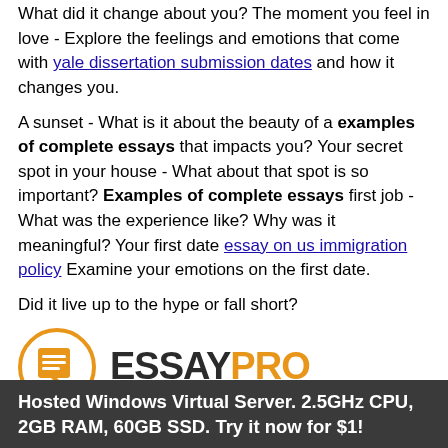What did it change about you? The moment you feel in love - Explore the feelings and emotions that come with yale dissertation submission dates and how it changes you.
A sunset - What is it about the beauty of a examples of complete essays that impacts you? Your secret spot in your house - What about that spot is so important? Examples of complete essays first job - What was the experience like? Why was it meaningful? Your first date essay on us immigration policy Examine your emotions on the first date.
Did it live up to the hype or fall short?
[Figure (logo): EssayPro logo with orange circle icon containing document lines and a pencil, followed by ESSAYPRO text where ESSAY is dark and PRO is orange]
Follow us on facebook  Terms & Conditions  Privacy Policy  SiteMap  Refund Policy
© 2020-2021 owltech-co-jp.somee.com™. All rights reserved.
Web hosting by Somee.com
Hosted Windows Virtual Server. 2.5GHz CPU, 2GB RAM, 60GB SSD. Try it now for $1!